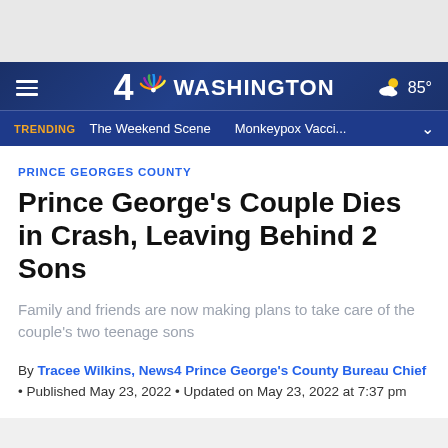[Figure (screenshot): NBC 4 Washington website header banner with logo, hamburger menu, weather showing 85°, trending bar with 'TRENDING', 'The Weekend Scene', 'Monkeypox Vacci...']
PRINCE GEORGES COUNTY
Prince George's Couple Dies in Crash, Leaving Behind 2 Sons
Family and friends are now making plans to take care of the couple's two teenage sons
By Tracee Wilkins, News4 Prince George's County Bureau Chief • Published May 23, 2022 • Updated on May 23, 2022 at 7:37 pm